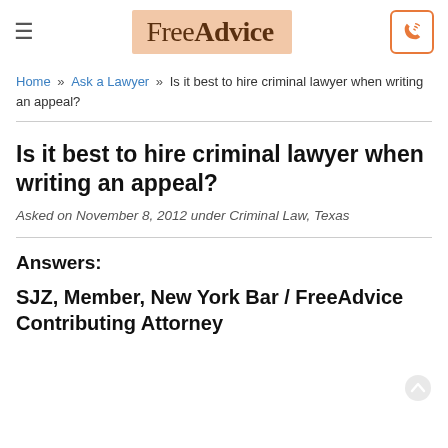FreeAdvice
Home » Ask a Lawyer » Is it best to hire criminal lawyer when writing an appeal?
Is it best to hire criminal lawyer when writing an appeal?
Asked on November 8, 2012 under Criminal Law, Texas
Answers:
SJZ, Member, New York Bar / FreeAdvice Contributing Attorney